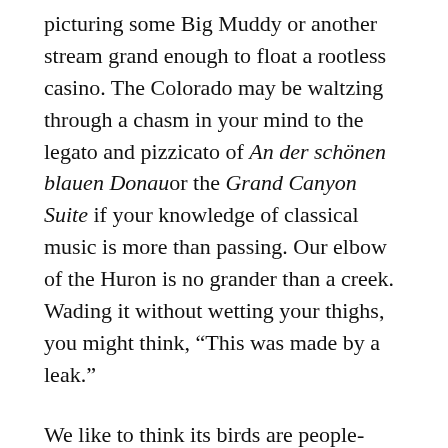picturing some Big Muddy or another stream grand enough to float a rootless casino. The Colorado may be waltzing through a chasm in your mind to the legato and pizzicato of An der schönen blauen Donauor the Grand Canyon Suite if your knowledge of classical music is more than passing. Our elbow of the Huron is no grander than a creek. Wading it without wetting your thighs, you might think, “This was made by a leak.”
We like to think its birds are people-watchers admiring our brisk nervous movements. See the big one go out and come back with fodder. The small one cooks it up and both mouths water. The small one waits at the backdoor for the airport shuttle. The big one watches the front lest the driver not both on...